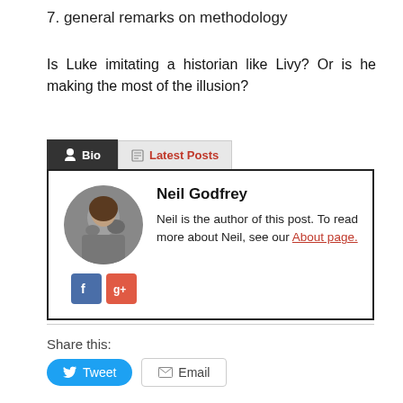7. general remarks on methodology
Is Luke imitating a historian like Livy? Or is he making the most of the illusion?
[Figure (infographic): Bio widget with two tabs: 'Bio' (active, dark background) and 'Latest Posts' (inactive, light background with red text). Inside is a circular profile photo of Neil Godfrey, social icons for Facebook and Google+, a bold name 'Neil Godfrey', description text 'Neil is the author of this post. To read more about Neil, see our About page.' with 'About page.' as a red underlined link.]
Share this:
Tweet
Email